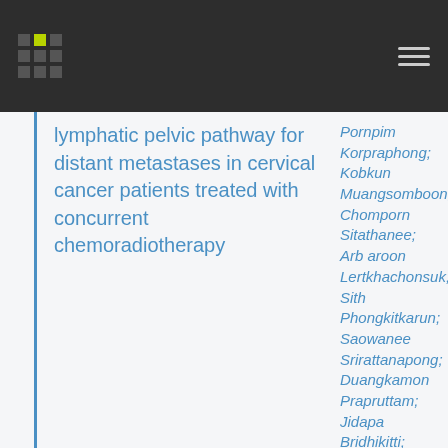lymphatic pelvic pathway for distant metastases in cervical cancer patients treated with concurrent chemoradiotherapy
Pornpim Korpraphong; Kobkun Muangsomboon; Chomporn Sitathanee; Arb aroon Lertkhachonsuk; Sith Phongkitkarun; Saowanee Srirattanapong; Duangkamon Prapruttam; Jidapa Bridhikitti; Thaworn Dendumrongsup; Petch Alisanant; Napapat Amornwichet; Chonlakiet Khorprasert; Kewalee Sasiwimonphan;